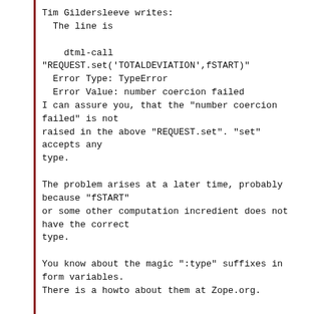Tim Gildersleeve writes:
  The line is

    dtml-call "REQUEST.set('TOTALDEVIATION',fSTART)"
  Error Type: TypeError
  Error Value: number coercion failed
I can assure you, that the "number coercion failed" is not
raised in the above "REQUEST.set". "set" accepts any
type.

The problem arises at a later time, probably because "fSTART"
or some other computation incredient does not have the correct
type.

You know about the magic ":type" suffixes in form variables.
There is a howto about them at Zope.org.